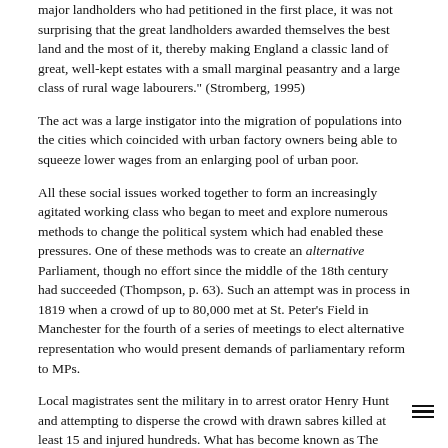major landholders who had petitioned in the first place, it was not surprising that the great landholders awarded themselves the best land and the most of it, thereby making England a classic land of great, well-kept estates with a small marginal peasantry and a large class of rural wage labourers." (Stromberg, 1995)
The act was a large instigator into the migration of populations into the cities which coincided with urban factory owners being able to squeeze lower wages from an enlarging pool of urban poor.
All these social issues worked together to form an increasingly agitated working class who began to meet and explore numerous methods to change the political system which had enabled these pressures. One of these methods was to create an alternative Parliament, though no effort since the middle of the 18th century had succeeded (Thompson, p. 63). Such an attempt was in process in 1819 when a crowd of up to 80,000 met at St. Peter's Field in Manchester for the fourth of a series of meetings to elect alternative representation who would present demands of parliamentary reform to MPs.
Local magistrates sent the military in to arrest orator Henry Hunt and attempting to disperse the crowd with drawn sabres killed at least 15 and injured hundreds. What has become known as The Peterloo Massacre increased demands for political reform and remained in popular consciousness for decades to come as a defining moment of British agitation. The events were also recorded on numerous souvenirs, household goods such as plates, jugs and handkerchiefs were sold to raise money for the injured as well as communicate the calls for universal suffrage...